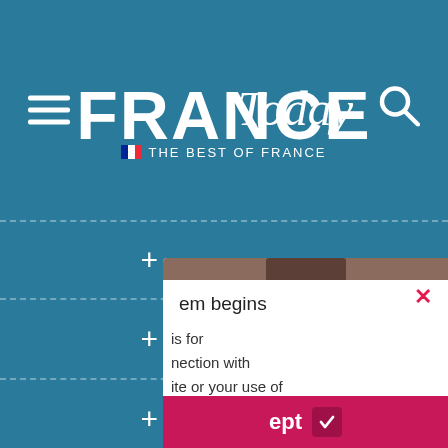[Figure (screenshot): France Today website header with hamburger menu icon on left, France Today logo in center (large bold FRANCE text with italic Today script), French flag and THE BEST OF FRANCE tagline, and search icon on right. Background is teal/blue. Below the header is a page with dotted horizontal lines and plus signs. An overlay popup panel appears on the right side with a close X button, partial text about terms beginning, subscription-related text, and a pink Accept button with checkmark at the bottom.]